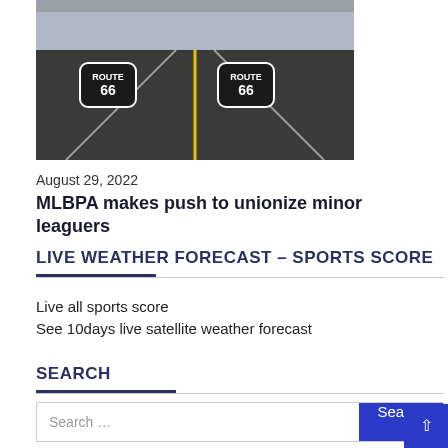[Figure (photo): Aerial/road-level view of Route 66 road markings on asphalt, with a yellow center line and Route 66 shield logos painted on the road surface.]
August 29, 2022
MLBPA makes push to unionize minor leaguers
LIVE WEATHER FORECAST – SPORTS SCORE
Live all sports score
See 10days live satellite weather forecast
SEARCH